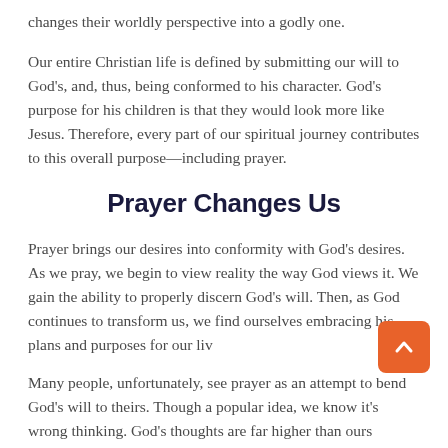changes their worldly perspective into a godly one.
Our entire Christian life is defined by submitting our will to God's, and, thus, being conformed to his character. God's purpose for his children is that they would look more like Jesus. Therefore, every part of our spiritual journey contributes to this overall purpose—including prayer.
Prayer Changes Us
Prayer brings our desires into conformity with God's desires. As we pray, we begin to view reality the way God views it. We gain the ability to properly discern God's will. Then, as God continues to transform us, we find ourselves embracing his plans and purposes for our liv
Many people, unfortunately, see prayer as an attempt to bend God's will to theirs. Though a popular idea, we know it's wrong thinking. God's thoughts are far higher than ours